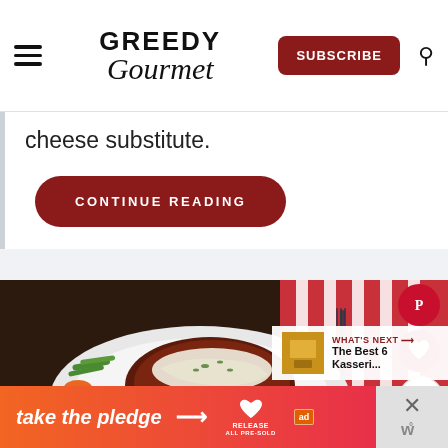Greedy Gourmet — SUBSCRIBE
cheese substitute.
CONTINUE READING
[Figure (photo): A steak served on a white plate with creamy white sauce, small potatoes, green beans and carrots, on a red and white striped cloth with a fork visible in the background]
WHAT'S NEXT → The Best 6 Kasseri...
take the pledge → RELEASE ad